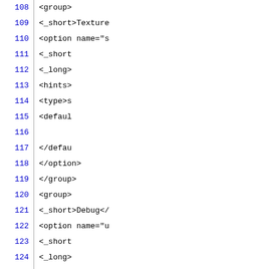Code listing lines 108-137 showing XML configuration markup with group, option, _short, _long, hints, type, default tags
108     <group>
109         <_short>Texture
110         <option name="s
111             <_short
112             <_long>
113             <hints>
114             <type>s
115             <defaul
116
117             </defau
118         </option>
119     </group>
120     <group>
121         <_short>Debug</
122         <option name="u
123             <_short
124             <_long>
125             <defaul
126         </option>
127         <option name="u
128             <_short
129             <_long>
130             <defaul
131         </option>
132     </group>
133     <group>
134         <_short>Key Bin
135         <option name="t
136             <_short
137             <_long>